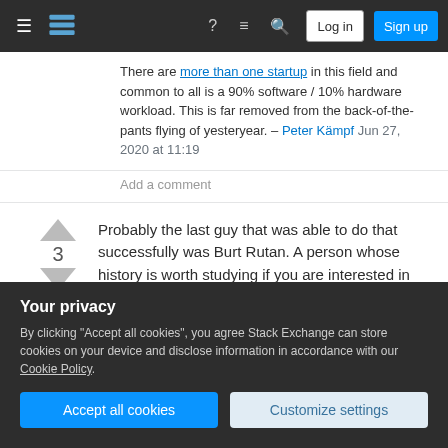Stack Exchange navigation bar with Log in and Sign up buttons
There are more than one startup in this field and common to all is a 90% software / 10% hardware workload. This is far removed from the back-of-the-pants flying of yesteryear. – Peter Kämpf Jun 27, 2020 at 11:19
Add a comment
Probably the last guy that was able to do that successfully was Burt Rutan. A person whose history is worth studying if you are interested in this sort of thing. Designing a complete aircraft from
Your privacy
By clicking "Accept all cookies", you agree Stack Exchange can store cookies on your device and disclose information in accordance with our Cookie Policy.
Accept all cookies
Customize settings